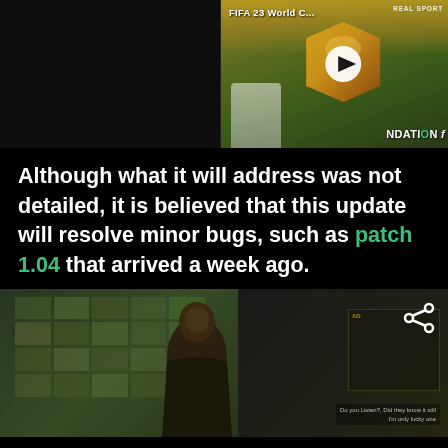[Figure (screenshot): Two video thumbnails side by side: left is a dark/black thumbnail, right shows FIFA 23 World Cup content with a golden player card and play button, labeled REALSPORT, with text 'NDATION f' visible at bottom]
Although what it will address was not detailed, it is believed that this update will resolve minor bugs, such as patch 1.04 that arrived a week ago.
[Figure (screenshot): Video thumbnail showing a city night scene with a figure in a dark coat, cyberpunk-style environment with buildings and neon lights, small caption text at bottom right]